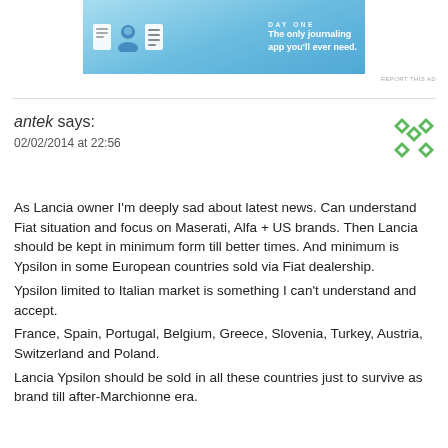[Figure (other): Day One journaling app advertisement banner with icons and tagline 'The only journaling app you'll ever need.']
REPORT THIS AD
antek says:
02/02/2014 at 22:56
As Lancia owner I'm deeply sad about latest news. Can understand Fiat situation and focus on Maserati, Alfa + US brands. Then Lancia should be kept in minimum form till better times. And minimum is Ypsilon in some European countries sold via Fiat dealership.
Ypsilon limited to Italian market is something I can't understand and accept.
France, Spain, Portugal, Belgium, Greece, Slovenia, Turkey, Austria, Switzerland and Poland.
Lancia Ypsilon should be sold in all these countries just to survive as brand till after-Marchionne era.